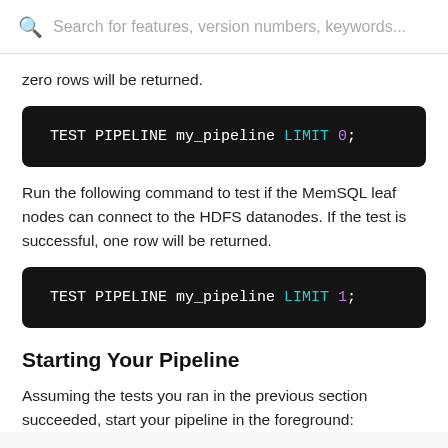Search for features, version numbers, keywords...
zero rows will be returned.
TEST PIPELINE my_pipeline LIMIT 0;
Run the following command to test if the MemSQL leaf nodes can connect to the HDFS datanodes. If the test is successful, one row will be returned.
TEST PIPELINE my_pipeline LIMIT 1;
Starting Your Pipeline
Assuming the tests you ran in the previous section succeeded, start your pipeline in the foreground: